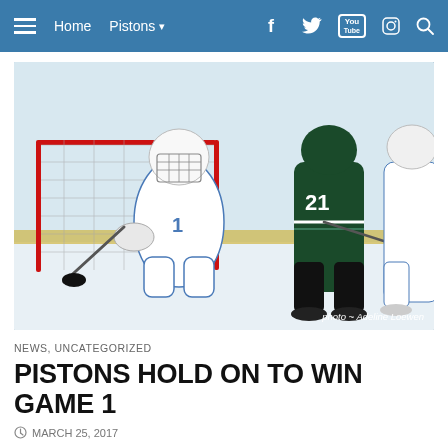Home  Pistons
[Figure (photo): Ice hockey action shot: a goalie in white/blue uniform defending the net against a player in dark green jersey number 21, with another white-uniformed player to the right. Photo credit: Adeline Loewen.]
photo ~ Adeline Loewen
NEWS, UNCATEGORIZED
PISTONS HOLD ON TO WIN GAME 1
MARCH 25, 2017